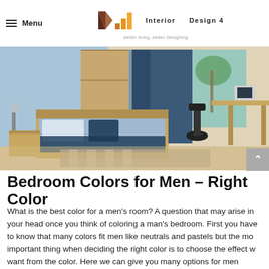Menu | Interior Design 4 — better living, better Designing
[Figure (photo): A modern men's bedroom with light wood furniture, blue accents on wardrobe and bed, a desk with office chair, large window with palm tree view, and striped rug on the floor.]
Bedroom Colors for Men – Right Color
What is the best color for a men's room? A question that may arise in your head once you think of coloring a man's bedroom. First you have to know that many colors fit men like neutrals and pastels but the most important thing when deciding the right color is to choose the effect we want from the color. Here we can give you many options for men bedroom colors. Blue can give you a calm effect , you can choose from